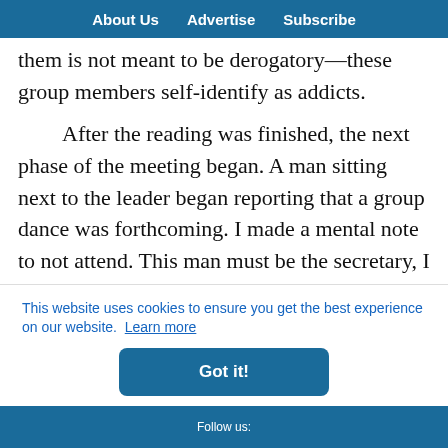About Us   Advertise   Subscribe
them is not meant to be derogatory—these group members self-identify as addicts.
After the reading was finished, the next phase of the meeting began. A man sitting next to the leader began reporting that a group dance was forthcoming. I made a mental note to not attend. This man must be the secretary, I thought. I knew
es
is
This website uses cookies to ensure you get the best experience on our website. Learn more
Got it!
Follow us: